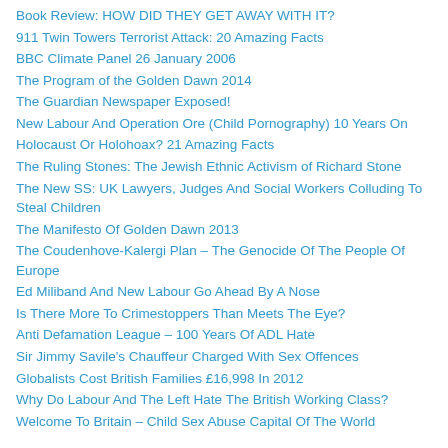Book Review: HOW DID THEY GET AWAY WITH IT?
911 Twin Towers Terrorist Attack: 20 Amazing Facts
BBC Climate Panel 26 January 2006
The Program of the Golden Dawn 2014
The Guardian Newspaper Exposed!
New Labour And Operation Ore (Child Pornography) 10 Years On
Holocaust Or Holohoax? 21 Amazing Facts
The Ruling Stones: The Jewish Ethnic Activism of Richard Stone
The New SS: UK Lawyers, Judges And Social Workers Colluding To Steal Children
The Manifesto Of Golden Dawn 2013
The Coudenhove-Kalergi Plan – The Genocide Of The People Of Europe
Ed Miliband And New Labour Go Ahead By A Nose
Is There More To Crimestoppers Than Meets The Eye?
Anti Defamation League – 100 Years Of ADL Hate
Sir Jimmy Savile's Chauffeur Charged With Sex Offences
Globalists Cost British Families £16,998 In 2012
Why Do Labour And The Left Hate The British Working Class?
Welcome To Britain – Child Sex Abuse Capital Of The World